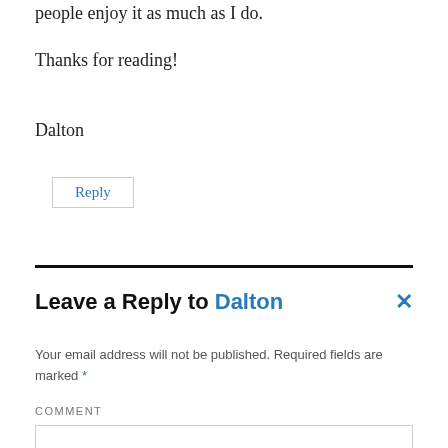people enjoy it as much as I do.
Thanks for reading!
Dalton
Reply
Leave a Reply to Dalton
Your email address will not be published. Required fields are marked *
COMMENT